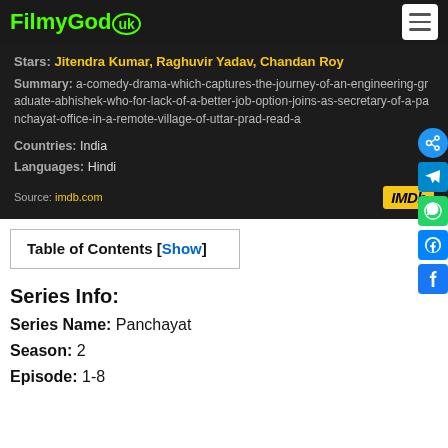FilmyGod.uk
Stars: Jitendra Kumar, Raghuvir Yadav, Chandan Roy
Summary: a-comedy-drama-which-captures-the-journey-of-an-engineering-graduate-abhishek-who-for-lack-of-a-better-job-option-joins-as-secretary-of-a-panchayat-office-in-a-remote-village-of-uttar-prad-read-a
Countries: India
Languages: Hindi
Source: imdb.com
Table of Contents [Show]
Series Info:
Series Name: Panchayat
Season: 2
Episode: 1-8